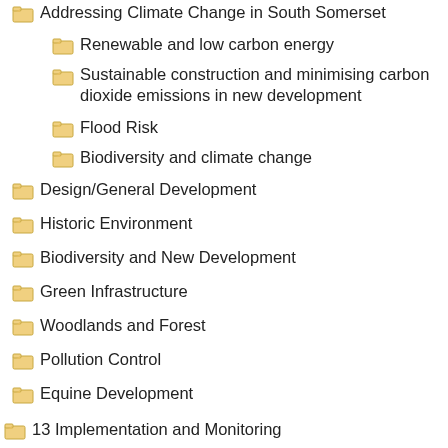Addressing Climate Change in South Somerset
Renewable and low carbon energy
Sustainable construction and minimising carbon dioxide emissions in new development
Flood Risk
Biodiversity and climate change
Design/General Development
Historic Environment
Biodiversity and New Development
Green Infrastructure
Woodlands and Forest
Pollution Control
Equine Development
13 Implementation and Monitoring